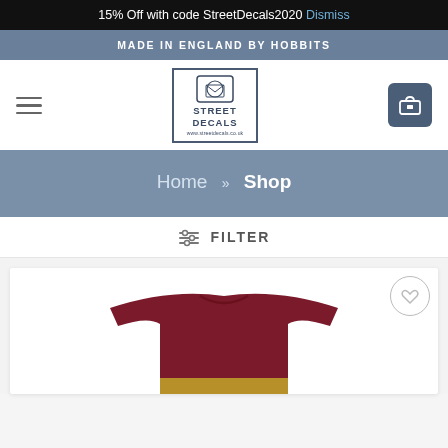15% Off with code StreetDecals2020 Dismiss
MADE IN ENGLAND BY HOBBITS
[Figure (logo): Street Decals logo in a bordered box with envelope icon, text STREET DECALS and website URL]
Home » Shop
≡ FILTER
[Figure (photo): Dark red/maroon crew-neck t-shirt product photo, partially visible from the top]